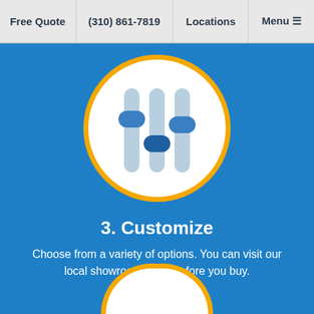Free Quote | (310) 861-7819 | Locations | Menu
[Figure (illustration): Circular icon with a white background and yellow border showing three vertical slider controls (equalizer/customize icon) in blue and light blue colors on a blue background.]
3. Customize
Choose from a variety of options. You can visit our local showroom to try before you buy.
[Figure (illustration): Partial bottom of a circular icon with white background and yellow border, partially cropped at bottom of page.]